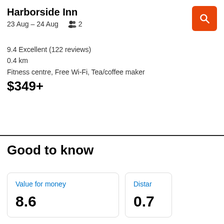Harborside Inn
23 Aug – 24 Aug  👥 2
9.4 Excellent (122 reviews)
0.4 km
Fitness centre, Free Wi-Fi, Tea/coffee maker
$349+
Good to know
Value for money
8.6
Distar
0.7